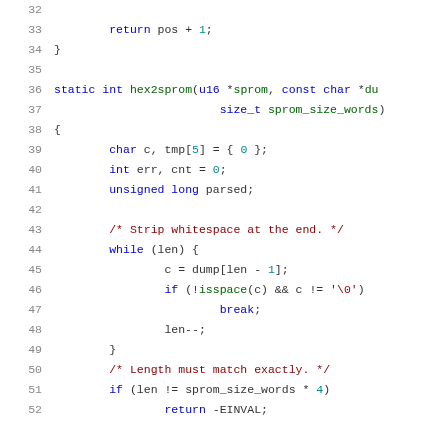[Figure (screenshot): Source code listing lines 32-52 of a C file showing hex2sprom function implementation with syntax highlighting. Line numbers in gray on left, keywords in blue, comments in dark red, numbers in teal.]